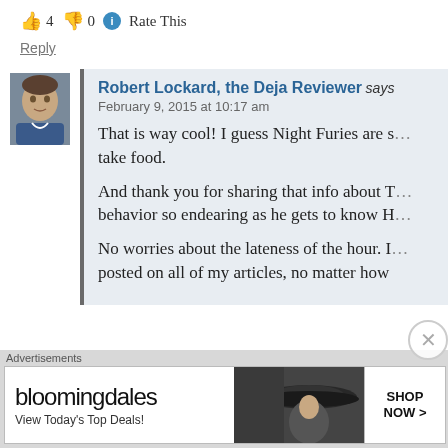👍 4 👎 0 ℹ Rate This
Reply
Robert Lockard, the Deja Reviewer says February 9, 2015 at 10:17 am That is way cool! I guess Night Furies are s... take food. And thank you for sharing that info about T... behavior so endearing as he gets to know H... No worries about the lateness of the hour. I... posted on all of my articles, no matter how...
Advertisements
[Figure (screenshot): Bloomingdale's advertisement banner with 'View Today's Top Deals!' text, woman in large hat, and 'SHOP NOW >' button]